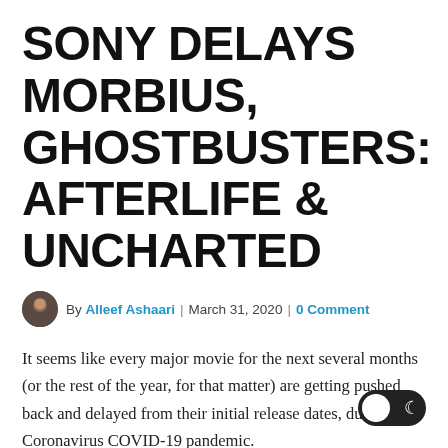SONY DELAYS MORBIUS, GHOSTBUSTERS: AFTERLIFE & UNCHARTED
By Alleef Ashaari | March 31, 2020 | 0 Comment
It seems like every major movie for the next several months (or the rest of the year, for that matter) are getting pushed back and delayed from their initial release dates, due to the Coronavirus COVID-19 pandemic.